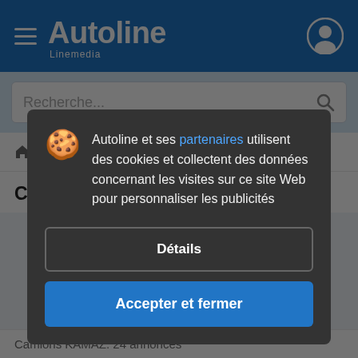Autoline Linemedia
Recherche...
🏠 > Camions > Camions KAMAZ
Camions KAMAZ de l'Europe
Autoline et ses partenaires utilisent des cookies et collectent des données concernant les visites sur ce site Web pour personnaliser les publicités
Détails
Accepter et fermer
Camions KAMAZ: 24 annonces